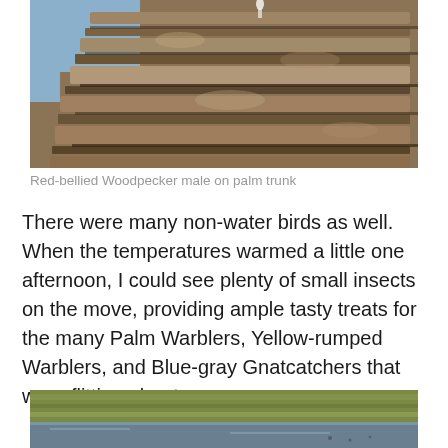[Figure (photo): Close-up photo of a textured rock or palm trunk surface with layered brown rocky texture and blue sky visible in upper left corner.]
Red-bellied Woodpecker male on palm trunk
There were many non-water birds as well. When the temperatures warmed a little one afternoon, I could see plenty of small insects on the move, providing ample tasty treats for the many Palm Warblers, Yellow-rumped Warblers, and Blue-gray Gnatcatchers that were flitting about.
[Figure (photo): Partial view of a wetland or marsh scene with green grassy vegetation and water reflection visible at the bottom of the page.]